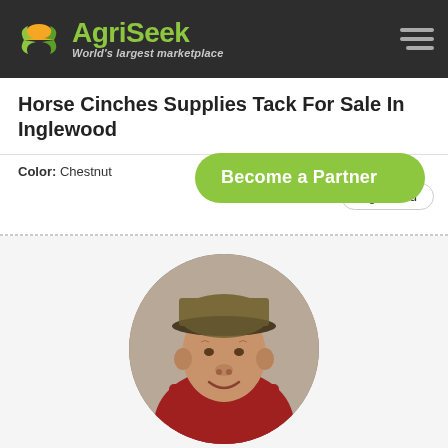[Figure (logo): AgriSeek logo with sun/leaf icon, text 'AgriSeek' in green and tagline 'World's largest marketplace' in italic gray, on dark background header with hamburger menu icon]
Horse Cinches Supplies Tack For Sale In Inglewood
Color: Chestnut
[Figure (infographic): Green pill-shaped button overlay reading 'Become a Partner' with a location pill reading 'Inglewood' partially visible]
[Figure (photo): Circular cropped photo of a smiling older man wearing a tan baseball cap and red plaid shirt, with blurred background]
Buy, Sell, find Jobs